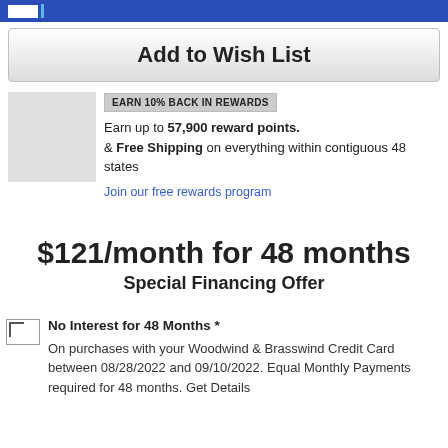Add to Wish List
EARN 10% BACK IN REWARDS
Earn up to 57,900 reward points. & Free Shipping on everything within contiguous 48 states
Join our free rewards program
$121/month for 48 months
Special Financing Offer
No Interest for 48 Months *
On purchases with your Woodwind & Brasswind Credit Card between 08/28/2022 and 09/10/2022. Equal Monthly Payments required for 48 months. Get Details